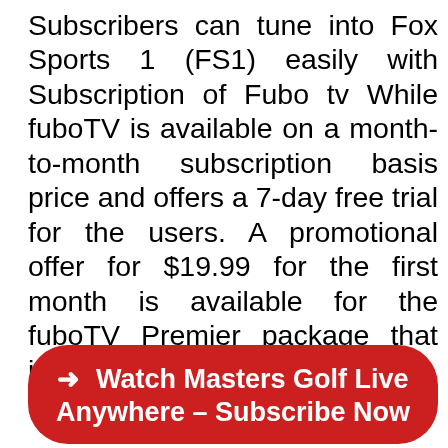Subscribers can tune into Fox Sports 1 (FS1) easily with Subscription of Fubo tv While fuboTV is available on a month-to-month subscription basis price and offers a 7-day free trial for the users. A promotional offer for $19.99 for the first month is available for the fuboTV Premier package that includes live Masters Golf 2022.
➜ Watch Masters Golf Live Anywhere – Subscribe Now